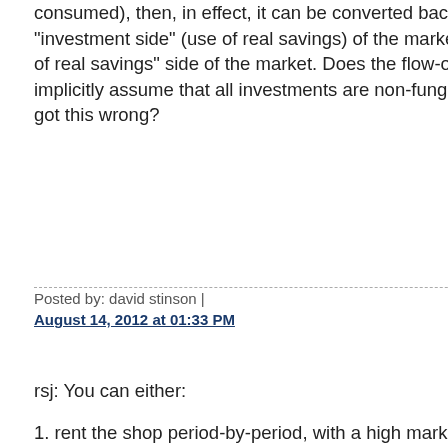consumed), then, in effect, it can be converted back from the "investment side" (use of real savings) of the market to the "pool of real savings" side of the market. Does the flow-only model implicitly assume that all investments are non-fungible? Have I got this wrong?
Posted by: david stinson | August 14, 2012 at 01:33 PM
rsj: You can either:
1. rent the shop period-by-period, with a high market rent in even periods and a low